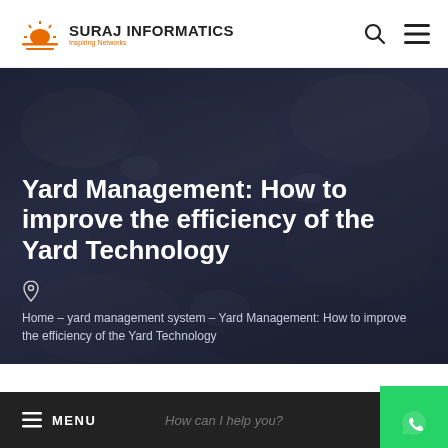SURAJ INFORMATICS
Yard Management: How to improve the efficiency of the Yard Technology
Home – yard management system – Yard Management: How to improve the efficiency of the Yard Technology
≡ MENU | How can I help you?